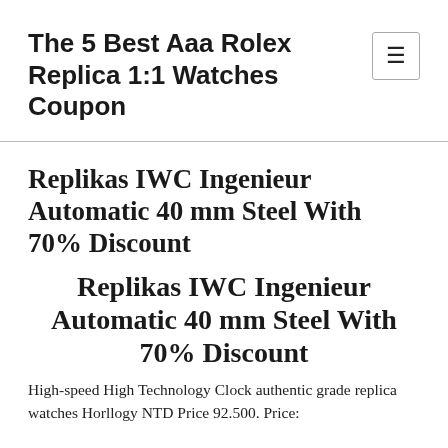The 5 Best Aaa Rolex Replica 1:1 Watches Coupon
Replikas IWC Ingenieur Automatic 40 mm Steel With 70% Discount
Replikas IWC Ingenieur Automatic 40 mm Steel With 70% Discount
High-speed High Technology Clock authentic grade replica watches Horllogy NTD Price 92.500. Price: